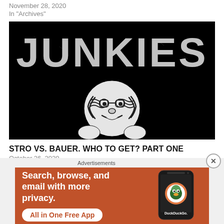November 28, 2020
In "Archives"
[Figure (illustration): Black background with white distressed text reading 'JUNKIES' and a cartoon baseball face character below it]
STRO VS. BAUER. WHO TO GET? PART ONE
October 26, 2020
Advertisements
[Figure (infographic): DuckDuckGo advertisement banner with orange background. Text: 'Search, browse, and email with more privacy. All in One Free App'. Shows phone image and DuckDuckGo logo.]